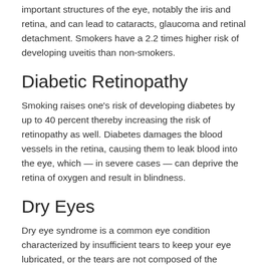important structures of the eye, notably the iris and retina, and can lead to cataracts, glaucoma and retinal detachment. Smokers have a 2.2 times higher risk of developing uveitis than non-smokers.
Diabetic Retinopathy
Smoking raises one's risk of developing diabetes by up to 40 percent thereby increasing the risk of retinopathy as well. Diabetes damages the blood vessels in the retina, causing them to leak blood into the eye, which — in severe cases — can deprive the retina of oxygen and result in blindness.
Dry Eyes
Dry eye syndrome is a common eye condition characterized by insufficient tears to keep your eye lubricated, or the tears are not composed of the correct balance of water, lipids, and mucous to maintain proper lubrication. Common symptoms include red, itchy, and gritty eyes.
Heavy smokers, and those exposed to secondhand smoke,